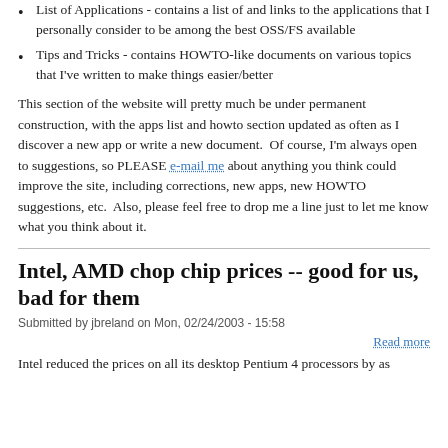List of Applications - contains a list of and links to the applications that I personally consider to be among the best OSS/FS available
Tips and Tricks - contains HOWTO-like documents on various topics that I've written to make things easier/better
This section of the website will pretty much be under permanent construction, with the apps list and howto section updated as often as I discover a new app or write a new document.  Of course, I'm always open to suggestions, so PLEASE e-mail me about anything you think could improve the site, including corrections, new apps, new HOWTO suggestions, etc.  Also, please feel free to drop me a line just to let me know what you think about it.
Intel, AMD chop chip prices -- good for us, bad for them
Submitted by jbreland on Mon, 02/24/2003 - 15:58
Read more
Intel reduced the prices on all its desktop Pentium 4 processors by as